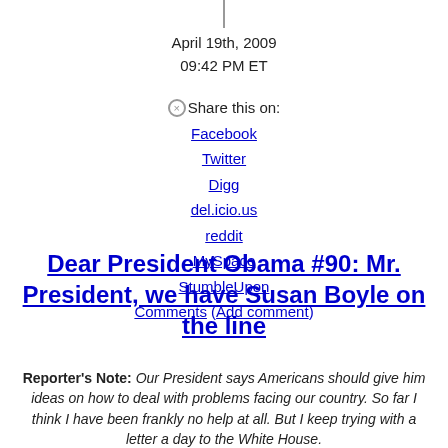April 19th, 2009
09:42 PM ET
Share this on:
Facebook
Twitter
Digg
del.icio.us
reddit
MySpace
StumbleUpon
Comments (Add comment)
Dear President Obama #90: Mr. President, we have Susan Boyle on the line
Reporter's Note: Our President says Americans should give him ideas on how to deal with problems facing our country. So far I think I have been frankly no help at all. But I keep trying with a letter a day to the White House.